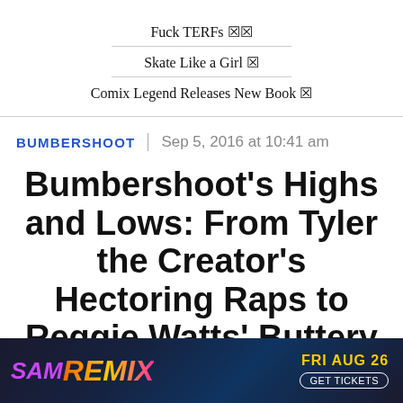Fuck TERFs 🏳️‍⚧️
Skate Like a Girl 🛹
Comix Legend Releases New Book 📚
BUMBERSHOOT | Sep 5, 2016 at 10:41 am
Bumbershoot's Highs and Lows: From Tyler the Creator's Hectoring Raps to Reggie Watts' Buttery
[Figure (advertisement): SAM REMIX advertisement banner with FRI AUG 26 and GET TICKETS text]